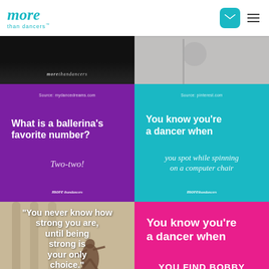more than dancers
[Figure (photo): Dark/black background image with 'more than dancers' branding text overlay at bottom]
[Figure (photo): Light grey background image, partial view]
[Figure (infographic): Purple background card. Source: mydancedreams.com. Bold white text: 'What is a ballerina's favorite number?' Italic white answer: 'Two-two!' More branding at bottom.]
[Figure (infographic): Teal/cyan background card. Source: pinterest.com. Text: 'You know you're a dancer when' and 'you spot while spinning on a computer chair'. More branding at bottom.]
[Figure (photo): Photo of dancer posing near columns with quote overlay: '"You never know how strong you are, until being strong is your only choice."']
[Figure (infographic): Hot pink/magenta background card. Text: 'You know you're a dancer when' and 'YOU FIND BOBBY PINS' (partially visible)]